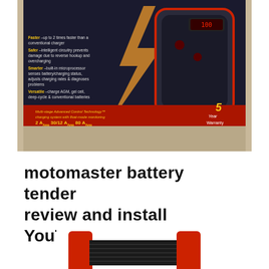[Figure (photo): Photo of a MotoMaster battery charger box with dark background, lightning graphics, showing product specs including '2A, 30/12A, 80A' ratings and '5 Year Warranty' text. The charger device is visible inside the box.]
motomaster battery tender review and install YouTube
[Figure (photo): Partial photo of a red and black battery tender/charger device shown from below, with red side panels visible.]